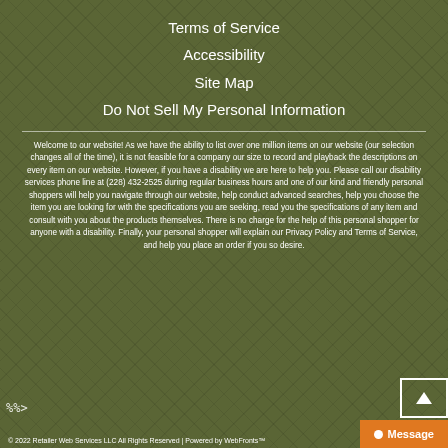Terms of Service
Accessibility
Site Map
Do Not Sell My Personal Information
Welcome to our website! As we have the ability to list over one million items on our website (our selection changes all of the time), it is not feasible for a company our size to record and playback the descriptions on every item on our website. However, if you have a disability we are here to help you. Please call our disability services phone line at (228) 432-2525 during regular business hours and one of our kind and friendly personal shoppers will help you navigate through our website, help conduct advanced searches, help you choose the item you are looking for with the specifications you are seeking, read you the specifications of any item and consult with you about the products themselves. There is no charge for the help of this personal shopper for anyone with a disability. Finally, your personal shopper will explain our Privacy Policy and Terms of Service, and help you place an order if you so desire.
© 2022 Retailer Web Services LLC All Rights Reserved | Powered by WebFronts™